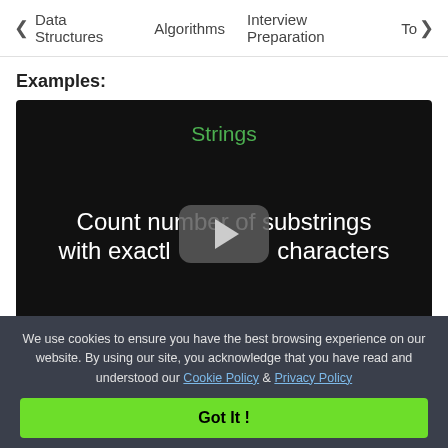< Data Structures   Algorithms   Interview Preparation   Top >
Examples:
[Figure (screenshot): Video thumbnail with dark background showing the text 'Strings' in green at the top, and 'Count number of substrings with exactly k characters' in white large text, with a play button overlay in the center.]
We use cookies to ensure you have the best browsing experience on our website. By using our site, you acknowledge that you have read and understood our Cookie Policy & Privacy Policy
Got It !